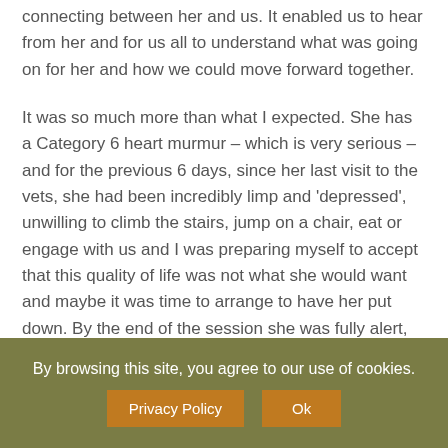connecting between her and us. It enabled us to hear from her and for us all to understand what was going on for her and how we could move forward together.
It was so much more than what I expected. She has a Category 6 heart murmur – which is very serious – and for the previous 6 days, since her last visit to the vets, she had been incredibly limp and 'depressed', unwilling to climb the stairs, jump on a chair, eat or engage with us and I was preparing myself to accept that this quality of life was not what she would want and maybe it was time to arrange to have her put down. By the end of the session she was fully alert, ate her food with enthusiasm and astonishingly this morning climbed the stairs and jumped onto the bed
By browsing this site, you agree to our use of cookies.